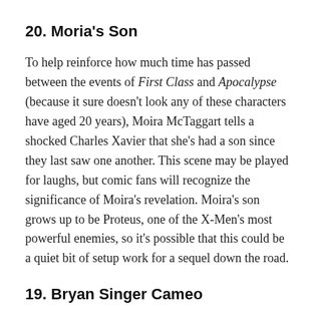20. Moria's Son
To help reinforce how much time has passed between the events of First Class and Apocalypse (because it sure doesn't look any of these characters have aged 20 years), Moira McTaggart tells a shocked Charles Xavier that she's had a son since they last saw one another. This scene may be played for laughs, but comic fans will recognize the significance of Moira's revelation. Moira's son grows up to be Proteus, one of the X-Men's most powerful enemies, so it's possible that this could be a quiet bit of setup work for a sequel down the road.
19. Bryan Singer Cameo
Some desc...